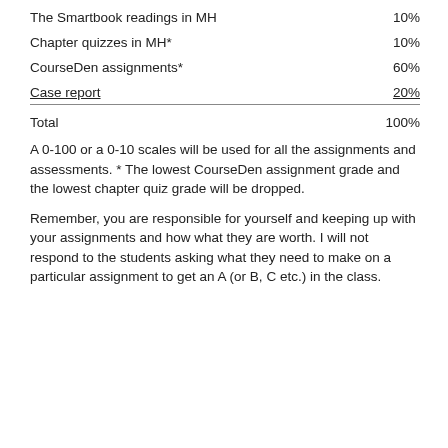| Item | Weight |
| --- | --- |
| The Smartbook readings in MH | 10% |
| Chapter quizzes in MH* | 10% |
| CourseDen assignments* | 60% |
| Case report | 20% |
| Total | 100% |
A 0-100 or a 0-10 scales will be used for all the assignments and assessments. * The lowest CourseDen assignment grade and the lowest chapter quiz grade will be dropped.
Remember, you are responsible for yourself and keeping up with your assignments and how what they are worth. I will not respond to the students asking what they need to make on a particular assignment to get an A (or B, C etc.) in the class.